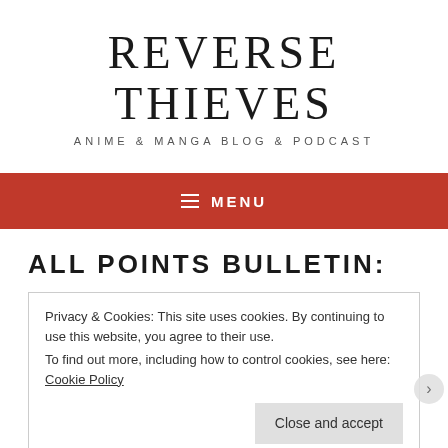REVERSE THIEVES
ANIME & MANGA BLOG & PODCAST
≡ MENU
ALL POINTS BULLETIN:
Privacy & Cookies: This site uses cookies. By continuing to use this website, you agree to their use.
To find out more, including how to control cookies, see here: Cookie Policy
Close and accept
Advertisements